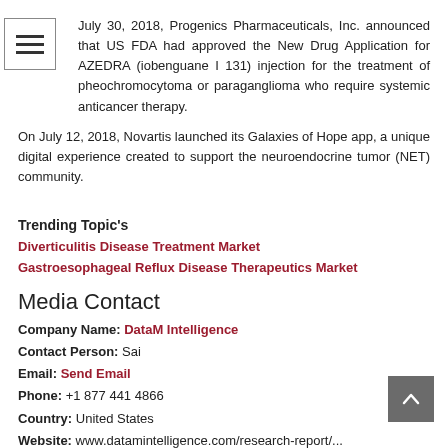July 30, 2018, Progenics Pharmaceuticals, Inc. announced that US FDA had approved the New Drug Application for AZEDRA (iobenguane I 131) injection for the treatment of pheochromocytoma or paraganglioma who require systemic anticancer therapy.
On July 12, 2018, Novartis launched its Galaxies of Hope app, a unique digital experience created to support the neuroendocrine tumor (NET) community.
Trending Topic's
Diverticulitis Disease Treatment Market
Gastroesophageal Reflux Disease Therapeutics Market
Media Contact
Company Name: DataM Intelligence
Contact Person: Sai
Email: Send Email
Phone: +1 877 441 4866
Country: United States
Website: www.datamintelligence.com/research-report/...